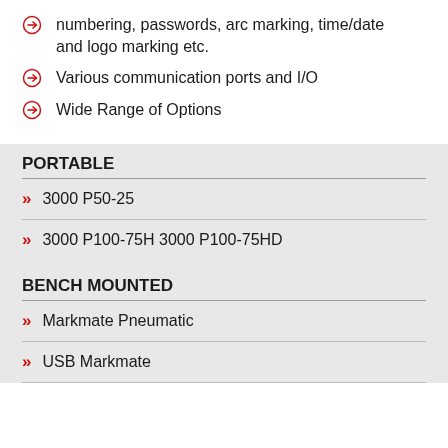numbering, passwords, arc marking, time/date and logo marking etc.
Various communication ports and I/O
Wide Range of Options
PORTABLE
3000 P50-25
3000 P100-75H 3000 P100-75HD
BENCH MOUNTED
Markmate Pneumatic
USB Markmate